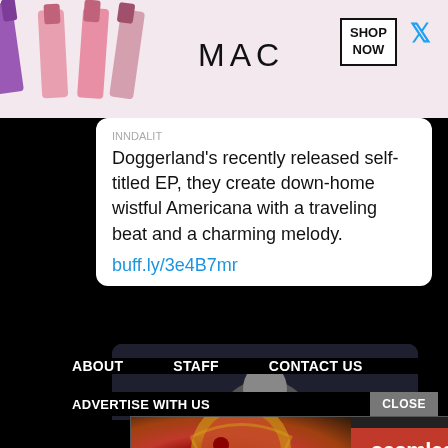[Figure (screenshot): MAC Cosmetics ad banner with lipsticks, MAC logo, SHOP NOW box, red lipstick on right. Time '5h' and Twitter bird icon visible.]
Doggerland's recently released self-titled EP, they create down-home wistful Americana with a traveling beat and a charming melody.
buff.ly/3e4B7mr
[Figure (photo): Dark photo of a person partially visible, dark moody background, within a tweet card.]
ABOUT   STAFF   CONTACT US
ADVERTISE WITH US
[Figure (screenshot): Seamless food delivery ad with pizza image on left, Seamless red logo in center, ORDER NOW button on right.]